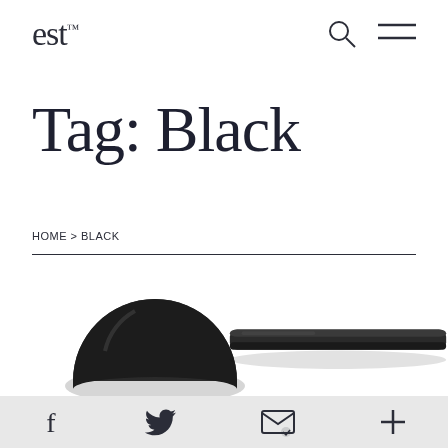est™
Tag: Black
HOME > BLACK
[Figure (photo): Two black hardware products: a semicircular cup pull handle on the left and a flat elongated door handle on the right]
f  [twitter bird]  [email]  +